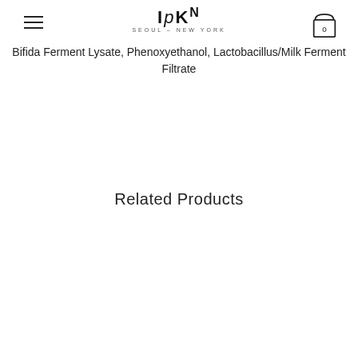IPKN Seoul - New York
Bifida Ferment Lysate, Phenoxyethanol, Lactobacillus/Milk Ferment Filtrate
Related Products